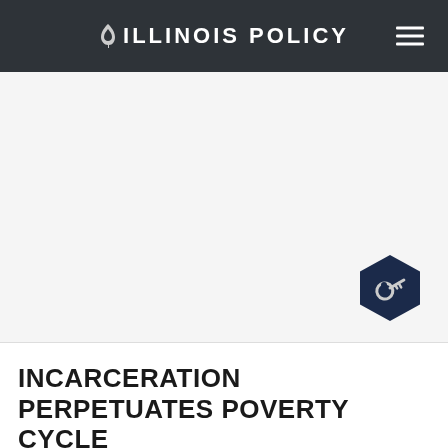ILLINOIS POLICY
[Figure (illustration): Hero image area with a dark navy hexagonal badge icon featuring a key symbol in the bottom right corner]
INCARCERATION PERPETUATES POVERTY CYCLE
by Scott Reeder  JULY 27, 2015